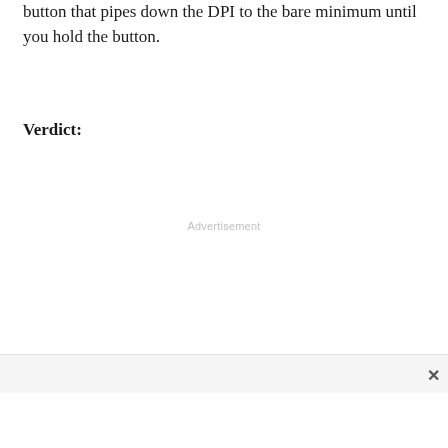button that pipes down the DPI to the bare minimum until you hold the button.
Verdict:
Advertisement